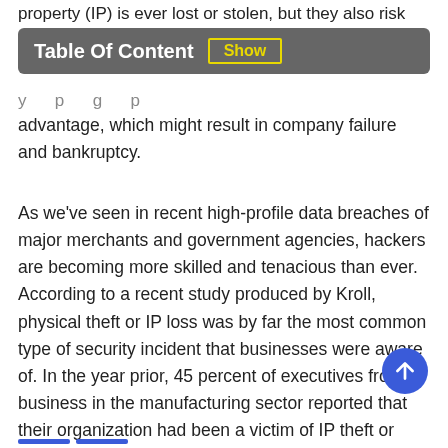property (IP) is ever lost or stolen, but they also risk
Table Of Content  Show
y      p      g      p
advantage, which might result in company failure and bankruptcy.
As we've seen in recent high-profile data breaches of major merchants and government agencies, hackers are becoming more skilled and tenacious than ever. According to a recent study produced by Kroll, physical theft or IP loss was by far the most common type of security incident that businesses were aware of. In the year prior, 45 percent of executives from a business in the manufacturing sector reported that their organization had been a victim of IP theft or loss.